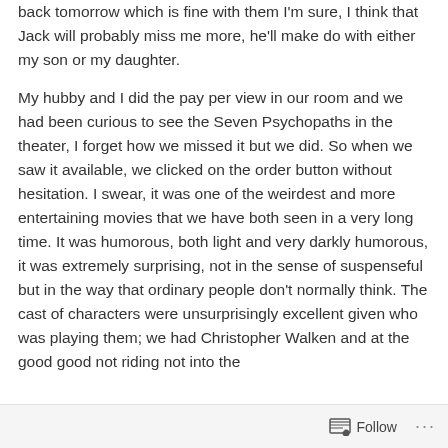back tomorrow which is fine with them I'm sure, I think that Jack will probably miss me more, he'll make do with either my son or my daughter.
My hubby and I did the pay per view in our room and we had been curious to see the Seven Psychopaths in the theater, I forget how we missed it but we did. So when we saw it available, we clicked on the order button without hesitation. I swear, it was one of the weirdest and more entertaining movies that we have both seen in a very long time. It was humorous, both light and very darkly humorous, it was extremely surprising, not in the sense of suspenseful but in the way that ordinary people don't normally think. The cast of characters were unsurprisingly excellent given who was playing them; we had Christopher Walken and...
Follow ···